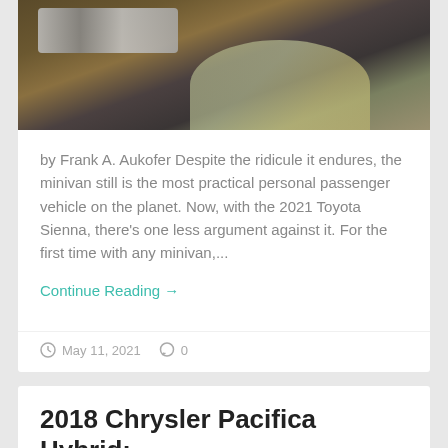[Figure (photo): Close-up photo of a car badge/emblem on a dark surface with autumn leaves visible in background]
by Frank A. Aukofer Despite the ridicule it endures, the minivan still is the most practical personal passenger vehicle on the planet. Now, with the 2021 Toyota Sienna, there's one less argument against it. For the first time with any minivan,...
Continue Reading →
May 11, 2021  0
2018 Chrysler Pacifica Hybrid: